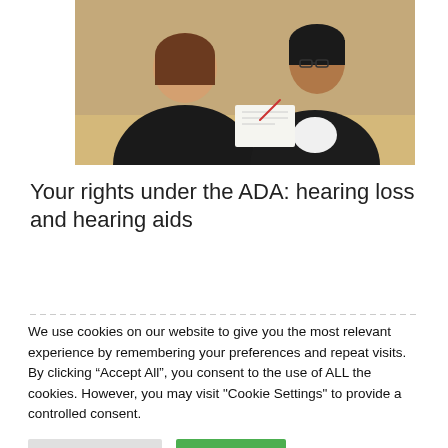[Figure (photo): Two women in a professional meeting or consultation, one facing away wearing a dark blazer, the other facing forward wearing dark blazer and glasses, reviewing documents at a desk.]
Your rights under the ADA: hearing loss and hearing aids
We use cookies on our website to give you the most relevant experience by remembering your preferences and repeat visits. By clicking “Accept All”, you consent to the use of ALL the cookies. However, you may visit "Cookie Settings" to provide a controlled consent.